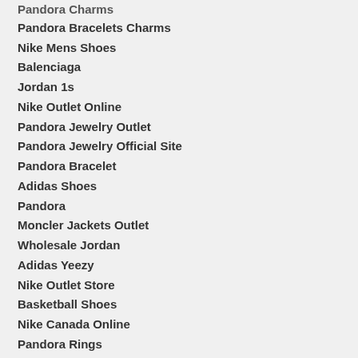Pandora Charms
Pandora Bracelets Charms
Nike Mens Shoes
Balenciaga
Jordan 1s
Nike Outlet Online
Pandora Jewelry Outlet
Pandora Jewelry Official Site
Pandora Bracelet
Adidas Shoes
Pandora
Moncler Jackets Outlet
Wholesale Jordan
Adidas Yeezy
Nike Outlet Store
Basketball Shoes
Nike Canada Online
Pandora Rings
Nike
Pandora Bracelets
Adidas Shoes Men
Pandora Charms
Pandora Jewelry